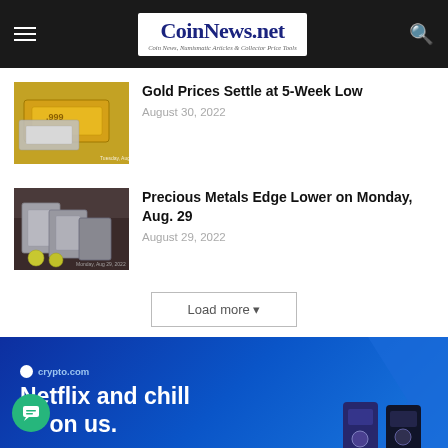CoinNews.net — Coin News, Numismatic Articles & Collector Price Tools
[Figure (photo): Gold and silver bars/bullion photo with date watermark Tuesday Aug 30 2022]
Gold Prices Settle at 5-Week Low
August 30, 2022
[Figure (photo): Silver bars and coins on dark background with watermark Monday Aug 29 2022]
Precious Metals Edge Lower on Monday, Aug. 29
August 29, 2022
Load more
[Figure (other): crypto.com advertisement banner — Netflix and chill — on us.]